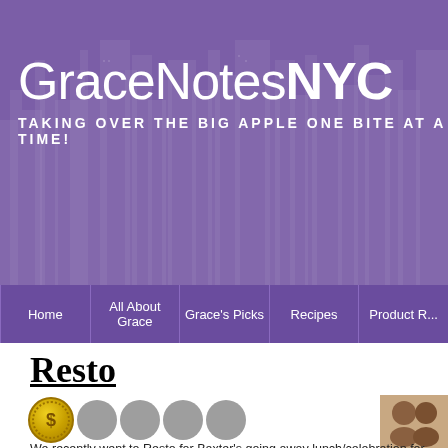[Figure (screenshot): GraceNotesNYC blog header banner with purple background, city skyline silhouette, blog title 'GraceNotesNYC' and subtitle 'TAKING OVER THE BIG APPLE ONE BITE AT A TIME!']
Home | All About Grace | Grace's Picks | Recipes | Product R...
Resto
By grace.g.yang · August 6, 2012
Under: Murray Hill
[Figure (infographic): Dollar coin rating icon followed by four gray dot icons representing price/rating scale]
[Figure (photo): Small thumbnail photo of two people]
We recently went to Resto for Baxter's going away lunch/celebration for finishing a bunch of different projects. I wasn't too excited ab... because my friend Hana said she had a terrible experience there; when she wen... she was served a frozen chicken dish and the other dishes weren't cooked to the... temperature, either. I thought it would be okay if I just stuck to a salad and possi...